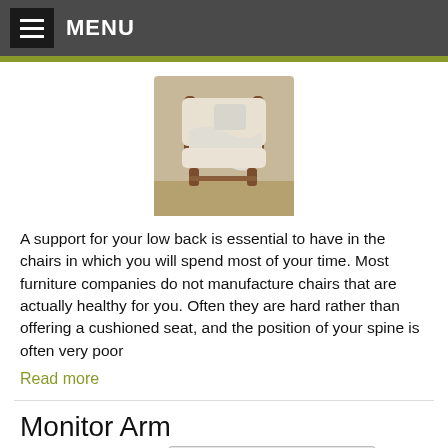MENU
[Figure (photo): A wooden armchair with light cushions and a blanket draped over it, photographed from the side]
A support for your low back is essential to have in the chairs in which you will spend most of your time. Most furniture companies do not manufacture chairs that are actually healthy for you. Often they are hard rather than offering a cushioned seat, and the position of your spine is often very poor
Read more
Monitor Arm
Category: Health & Wellness  At Work